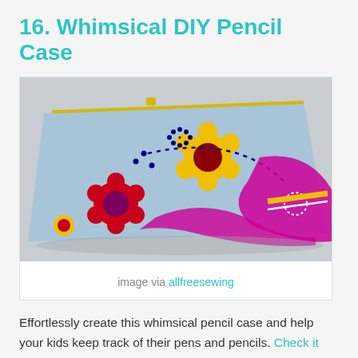16. Whimsical DIY Pencil Case
[Figure (photo): A colorful whimsical pencil case made of light blue fabric with floral and decorative patterns in red, yellow, pink, and purple, with a yellow zipper at the top.]
image via allfreesewing
Effortlessly create this whimsical pencil case and help your kids keep track of their pens and pencils. Check it